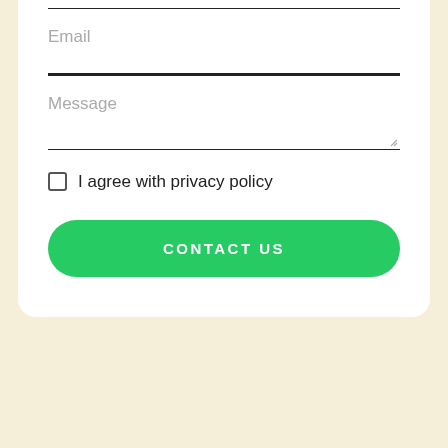[Figure (screenshot): Contact form UI showing Email field with underline, Message textarea with resize handle, a checkbox labeled 'I agree with privacy policy', and a green rounded 'CONTACT US' button. The form is on a white card over a beige background.]
Email
Message
I agree with privacy policy
CONTACT US